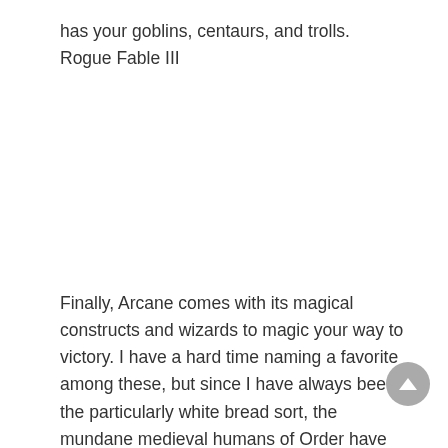has your goblins, centaurs, and trolls. Rogue Fable III
Finally, Arcane comes with its magical constructs and wizards to magic your way to victory. I have a hard time naming a favorite among these, but since I have always been the particularly white bread sort, the mundane medieval humans of Order have secured a slight victory over the others in my heart. The gameplay itself is both